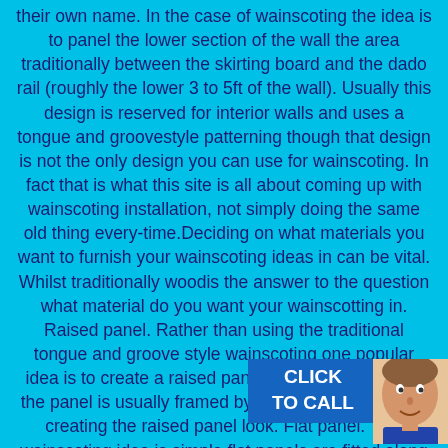their own name. In the case of wainscoting the idea is to panel the lower section of the wall the area traditionally between the skirting board and the dado rail (roughly the lower 3 to 5ft of the wall). Usually this design is reserved for interior walls and uses a tongue and groovestyle patterning though that design is not the only design you can use for wainscoting. In fact that is what this site is all about coming up with wainscoting installation, not simply doing the same old thing every-time.Deciding on what materials you want to furnish your wainscoting ideas in can be vital. Whilst traditionally woodis the answer to the question what material do you want your wainscotting in. Raised panel. Rather than using the traditional tongue and groove style wainscoting one popular idea is to create a raised panel style instead. In this the panel is usually framed by a more sunken frame, creating the raised panel look. Flat panel. This wainscoting idea is simple flat panels are fitted along the bottom of the wall with only s separating them. The slats are usually and the containing definition at belt t their
[Figure (other): A click-to-call button overlay in the bottom right corner with a blue background, white bold text reading CLICK TO CALL, and a person's face photo beside it.]